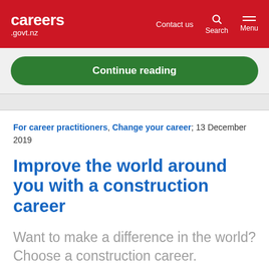careers.govt.nz — Contact us, Search, Menu
Continue reading
For career practitioners, Change your career; 13 December 2019
Improve the world around you with a construction career
Want to make a difference in the world? Choose a construction career.